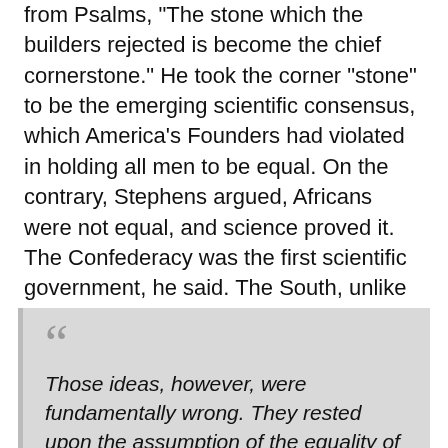from Psalms, "The stone which the builders rejected is become the chief cornerstone." He took the corner "stone" to be the emerging scientific consensus, which America's Founders had violated in holding all men to be equal. On the contrary, Stephens argued, Africans were not equal, and science proved it. The Confederacy was the first scientific government, he said. The South, unlike the North, merely sought to follow the science! And this was why they would prevail in the end. He attacked the "error" in the Constitution:
Those ideas, however, were fundamentally wrong. They rested upon the assumption of the equality of races. This was an error. It was a